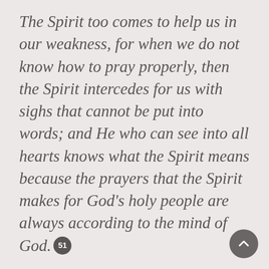The Spirit too comes to help us in our weakness, for when we do not know how to pray properly, then the Spirit intercedes for us with sighs that cannot be put into words; and He who can see into all hearts knows what the Spirit means because the prayers that the Spirit makes for God's holy people are always according to the mind of God. 51
The Holy Spirit is present to intercede in the depths of the heart. The Spirit of Christ leads the heart into the heart of Christ and His intercession and thanksgiving on behalf of all humanity; into communion of heart or will with the Father who wants all to be saved. Indeed, the very Love of